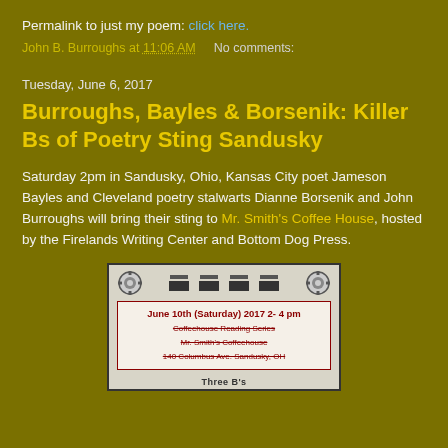Permalink to just my poem: click here.
John B. Burroughs at 11:06 AM    No comments:
Tuesday, June 6, 2017
Burroughs, Bayles & Borsenik: Killer Bs of Poetry Sting Sandusky
Saturday 2pm in Sandusky, Ohio, Kansas City poet Jameson Bayles and Cleveland poetry stalwarts Dianne Borsenik and John Burroughs will bring their sting to Mr. Smith's Coffee House, hosted by the Firelands Writing Center and Bottom Dog Press.
[Figure (photo): Event flyer for a Coffeehouse Reading Series at Mr. Smith's Coffeehouse, 140 Columbus Ave. Sandusky, OH on June 10th (Saturday) 2017 2-4 pm, with coffee cup graphics and gear icons]